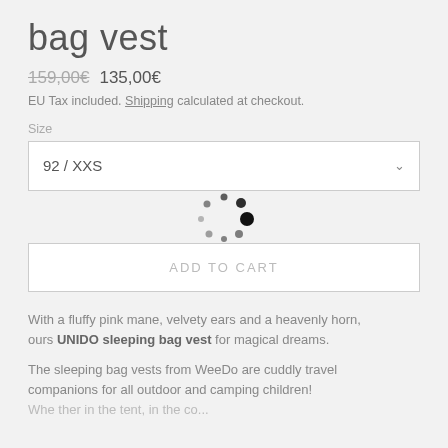bag vest
159,00€  135,00€
EU Tax included. Shipping calculated at checkout.
Size
92 / XXS
[Figure (other): Loading spinner animation (circular dots pattern)]
ADD TO CART
With a fluffy pink mane, velvety ears and a heavenly horn, ours UNIDO sleeping bag vest for magical dreams.
The sleeping bag vests from WeeDo are cuddly travel companions for all outdoor and camping children!